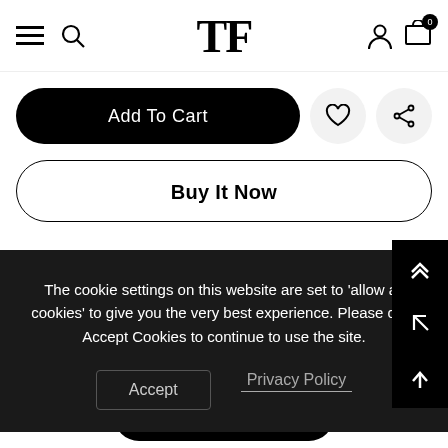TF brand logo navigation bar with hamburger menu, search, user, and cart icons
Add To Cart
Buy It Now
The cookie settings on this website are set to 'allow all cookies' to give you the very best experience. Please click Accept Cookies to continue to use the site.
Accept
Privacy Policy
Add To Cart